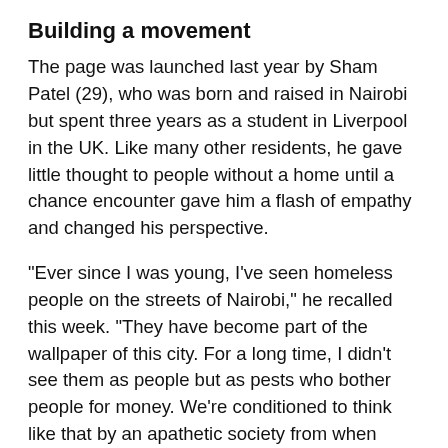Building a movement
The page was launched last year by Sham Patel (29), who was born and raised in Nairobi but spent three years as a student in Liverpool in the UK. Like many other residents, he gave little thought to people without a home until a chance encounter gave him a flash of empathy and changed his perspective.
“Ever since I was young, I’ve seen homeless people on the streets of Nairobi,” he recalled this week. “They have become part of the wallpaper of this city. For a long time, I didn’t see them as people but as pests who bother people for money. We’re conditioned to think like that by an apathetic society from when we’re young. We’re pre-programmed.”